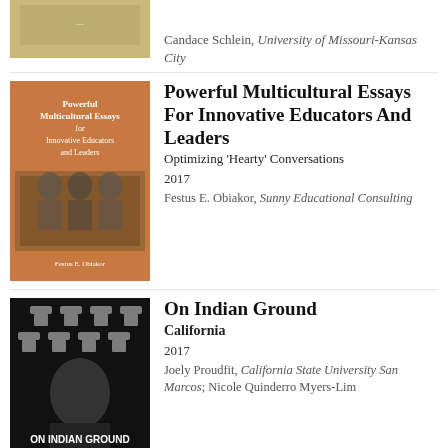Candace Schlein, University of Missouri-Kansas City
[Figure (photo): Book cover for Candace Schlein (partial, cropped at top)]
[Figure (photo): Book cover: Powerful Multicultural Essays For Innovative Educators And Leaders]
Powerful Multicultural Essays For Innovative Educators And Leaders
Optimizing 'Hearty' Conversations
2017
Festus E. Obiakor, Sunny Educational Consulting
[Figure (photo): Book cover: On Indian Ground California]
On Indian Ground
California
2017
Joely Proudfit, California State University San Marcos; Nicole Quinderro Myers-Lim
[Figure (photo): Book cover: Maribel's First Day]
Maribel's First Day
2017
Irma L. Almager
[Figure (photo): Book cover: Global Perspectives on Gender and Sexuality in Education]
Global Perspectives on Gender and Sexuality in Education